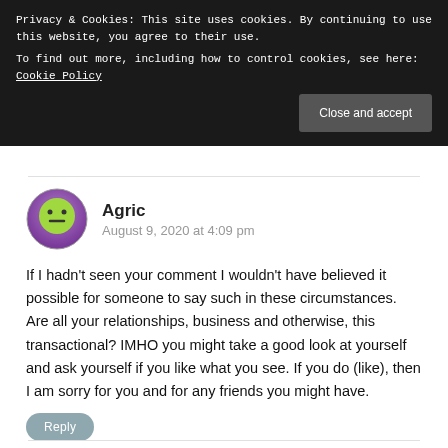Privacy & Cookies: This site uses cookies. By continuing to use this website, you agree to their use.
To find out more, including how to control cookies, see here: Cookie Policy
Close and accept
Agric
August 9, 2020 at 4:09 pm
If I hadn't seen your comment I wouldn't have believed it possible for someone to say such in these circumstances. Are all your relationships, business and otherwise, this transactional? IMHO you might take a good look at yourself and ask yourself if you like what you see. If you do (like), then I am sorry for you and for any friends you might have.
Reply